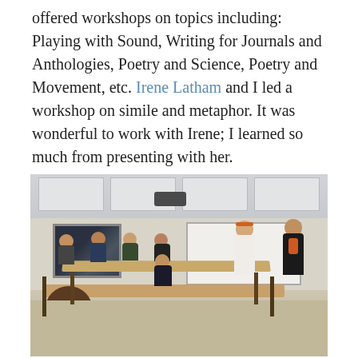offered workshops on topics including: Playing with Sound, Writing for Journals and Anthologies, Poetry and Science, Poetry and Movement, etc. Irene Latham and I led a workshop on simile and metaphor. It was wonderful to work with Irene; I learned so much from presenting with her.
[Figure (photo): A classroom workshop scene showing approximately 10 people seated around tables arranged in a U-shape, with two women standing at the front presenting. The room has a whiteboard, a ceiling projector, and a framed picture on the wall.]